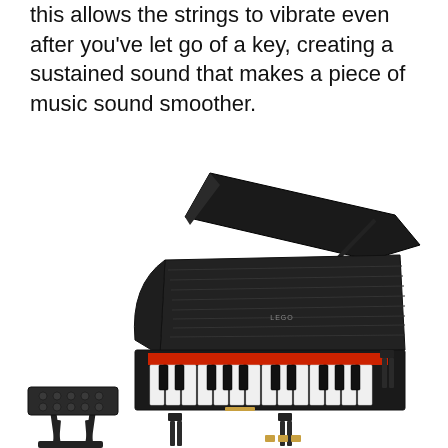this allows the strings to vibrate even after you've let go of a key, creating a sustained sound that makes a piece of music sound smoother.
[Figure (photo): A LEGO grand piano model in black with white keys, open lid propped up with a rod, music stand with sheet music, and a small bench/stool to the left. The model sits on a white background.]